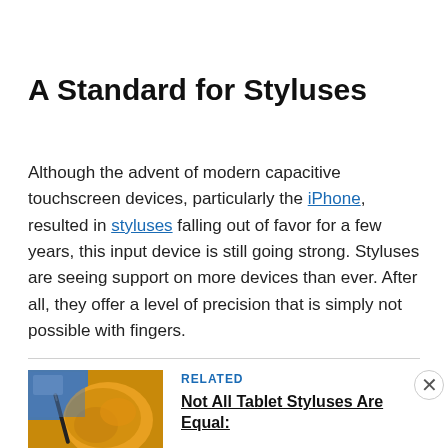A Standard for Styluses
Although the advent of modern capacitive touchscreen devices, particularly the iPhone, resulted in styluses falling out of favor for a few years, this input device is still going strong. Styluses are seeing support on more devices than ever. After all, they offer a level of precision that is simply not possible with fingers.
[Figure (photo): Photo of a hand holding a stylus against a tablet screen, with an orange/yellow background]
RELATED
Not All Tablet Styluses Are Equal: